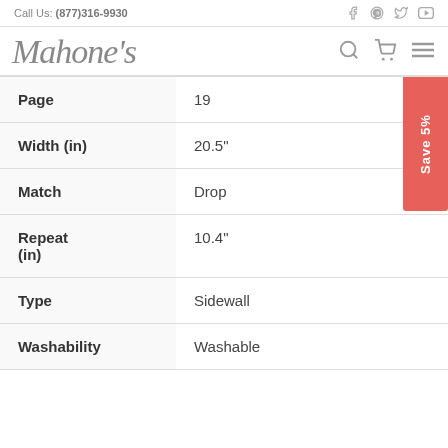Call Us: (877)316-9930
[Figure (logo): Mahone's script logo with search, cart, and menu icons]
| Attribute | Value |
| --- | --- |
| Page | 19 |
| Width (in) | 20.5" |
| Match | Drop |
| Repeat (in) | 10.4" |
| Type | Sidewall |
| Washability | Washable |